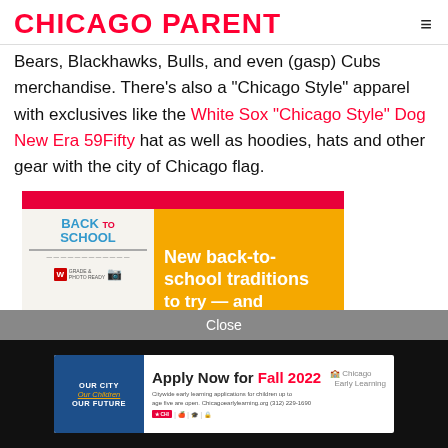CHICAGO PARENT
Bears, Blackhawks, Bulls, and even (gasp) Cubs merchandise. There’s also a “Chicago Style” apparel with exclusives like the White Sox “Chicago Style” Dog New Era 59Fifty hat as well as hoodies, hats and other gear with the city of Chicago flag.
[Figure (screenshot): Advertisement for Back to School content with red bar at top, yellow/orange background, left side shows a book cover with 'BACK to SCHOOL' text in blue, right side shows white bold text 'New back-to-school traditions to try — and' cut off at bottom]
[Figure (screenshot): Advertisement for Chicago Early Learning: 'Apply Now for Fall 2022' with blue left panel showing 'OUR CITY, Our Children, OUR FUTURE' and logos on right]